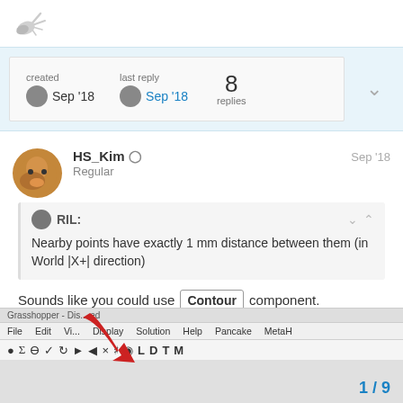[Figure (logo): Grasshopper/Discourse forum logo (stylized bird/grasshopper icon)]
created Sep '18   last reply Sep '18   8 replies
HS_Kim Regular Sep '18
RIL:
Nearby points have exactly 1 mm distance between them (in World |X+| direction)
Sounds like you could use Contour component.
[Figure (screenshot): Grasshopper application toolbar screenshot with menu bar (File, Edit, View, Display, Solution, Help, Pancake, MetaH) and icon bar with various tool icons]
1 / 9